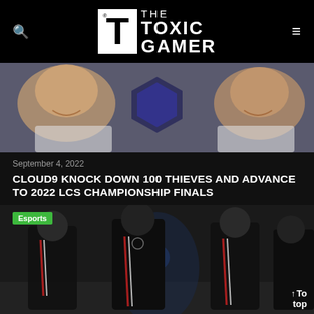THE TOXIC GAMER
[Figure (photo): Two esports players smiling in front of a hexagonal blue trophy/backdrop, wearing white team jerseys]
September 4, 2022
CLOUD9 KNOCK DOWN 100 THIEVES AND ADVANCE TO 2022 LCS CHAMPIONSHIP FINALS
[Figure (photo): Esports team members in black Adidas jerseys with BMW branding standing on stage, with an Esports category badge overlay]
To top